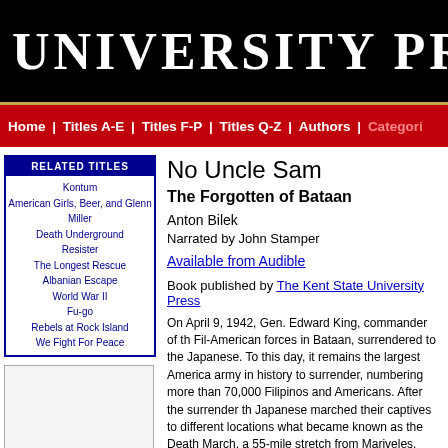UNIVERSITY PRESS
Home | Titles A-E | Titles F-P | Titles Q-Z | Authors | Categories
RELATED TITLES
Kontum
American Girls, Beer, and Glenn Miller
Death Underground
Resister
The Longest Rescue
Albanian Escape
World War II
Fu-go
Rebels at Rock Island
We Fight For Peace
[Figure (other): Sidebar image placeholder box]
No Uncle Sam
The Forgotten of Bataan
Anton Bilek
Narrated by John Stamper
Available from Audible
Book published by The Kent State University Press
On April 9, 1942, Gen. Edward King, commander of the Fil-American forces in Bataan, surrendered to the Japanese. To this day, it remains the largest American army in history to surrender, numbering more than 70,000 Filipinos and Americans. After the surrender the Japanese marched their captives to different locations in what became known as the Death March, a 55-mile stretch from Mariveles, Bataan, to San Fernando, Pampanga. Thousands of soldiers died in the march.